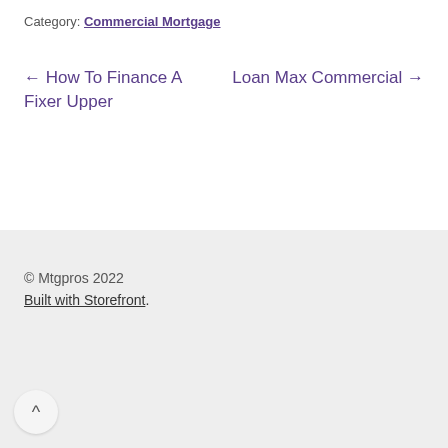Category: Commercial Mortgage
← How To Finance A Fixer Upper    Loan Max Commercial →
© Mtgpros 2022
Built with Storefront.
^